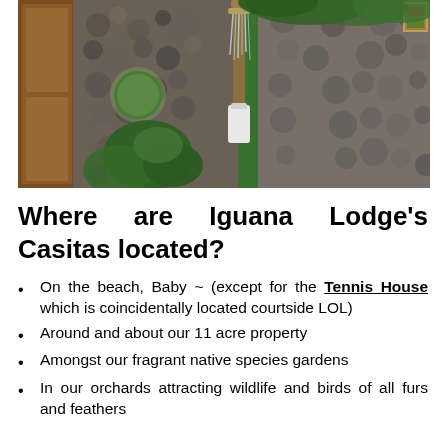[Figure (photo): Outdoor stone shower area with lush tropical greenery, bamboo pipe shower head, and stone walls with circular window opening]
Where are Iguana Lodge's Casitas located?
On the beach, Baby ~ (except for the Tennis House which is coincidentally located courtside LOL)
Around and about our 11 acre property
Amongst our fragrant native species gardens
In our orchards attracting wildlife and birds of all furs and feathers